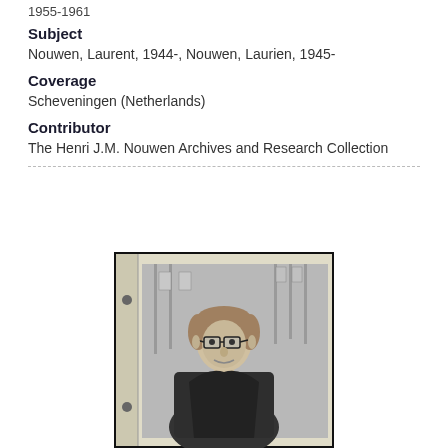1955-1961
Subject
Nouwen, Laurent, 1944-, Nouwen, Laurien, 1945-
Coverage
Scheveningen (Netherlands)
Contributor
The Henri J.M. Nouwen Archives and Research Collection
[Figure (photo): Black and white photograph of a man wearing glasses and dark clothing, mounted in a photo album with a light-colored spine showing two binder holes]